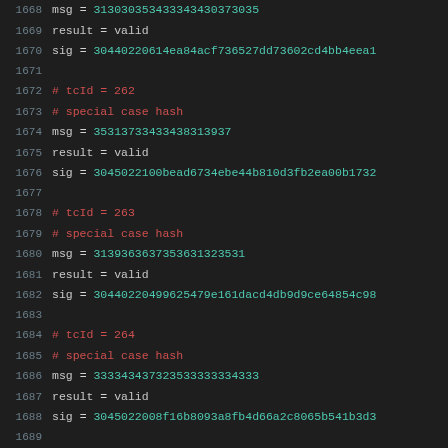1668  msg = 313030353432343430373035
1669  result = valid
1670  sig = 30440220614ea84acf736527dd73602cd4bb4eea1...
1671
1672  # tcId = 262
1673  # special case hash
1674  msg = 35313733433438313937
1675  result = valid
1676  sig = 3045022100bead6734ebe44b810d3fb2ea00b1732...
1677
1678  # tcId = 263
1679  # special case hash
1680  msg = 3139363637353631323531
1681  result = valid
1682  sig = 30440220499625479e161dacd4db9d9ce64854c98...
1683
1684  # tcId = 264
1685  # special case hash
1686  msg = 3333343437323533333334333
1687  result = valid
1688  sig = 3045022008f16b8093a8fb4d66a2c8065b541b3d3...
1689